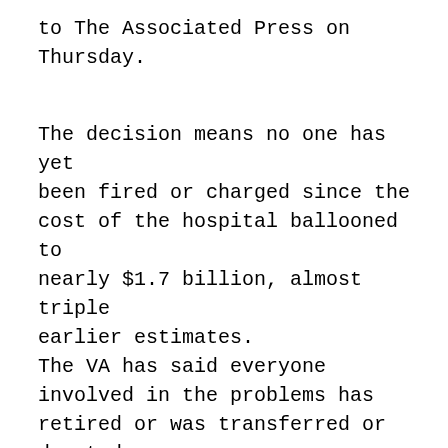to The Associated Press on Thursday.
The decision means no one has yet been fired or charged since the cost of the hospital ballooned to nearly $1.7 billion, almost triple earlier estimates. The VA has said everyone involved in the problems has retired or was transferred or demoted. The hospital is still under construction in the Denver suburb of Aurora and is expected to be finished next year. The VA executives targeted by lawmakers were Glenn Haggstrom.